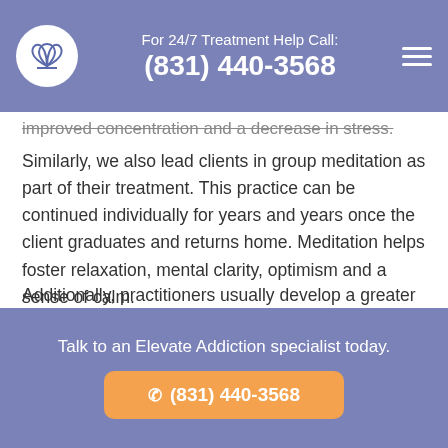For 24/7 Treatment Help Call: (831) 440-3568
improved concentration and a decrease in stress.
Similarly, we also lead clients in group meditation as part of their treatment. This practice can be continued individually for years and years once the client graduates and returns home. Meditation helps foster relaxation, mental clarity, optimism and a sense of calm.
Additionally, practitioners usually develop a greater sense of non-judgmental self-awareness, inner peace and tolerance. When it comes to addiction and mental health, frequent meditation helps fend off drug cravings as well as symptoms of depression and anxiety.
Talk to an Elevate Addiction specialist today. ☎ (831) 440-3568